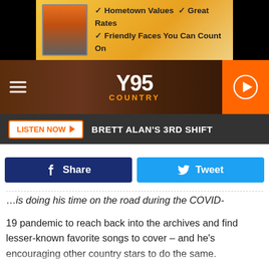[Figure (screenshot): Advertisement banner for a local store with checkmarks: Hometown Values, Great Rates, Friendly Faces You Can Count On]
[Figure (logo): Y95 Country radio station logo with hamburger menu and play button]
LISTEN NOW ▶  BRETT ALAN'S 3RD SHIFT
[Figure (infographic): Facebook Share and Twitter Tweet social sharing buttons]
is doing his time on the road during the COVID-19 pandemic to reach back into the archives and find lesser-known favorite songs to cover – and he's encouraging other country stars to do the same.
In a Facebook video shot in his home, the superstar performed an acoustic cover of John Schneider's 1986 release, "Take the Long Way Home." He then called on a few of his country star friends to participate in the #DeepCutChallenge by performing a personal favorite tune